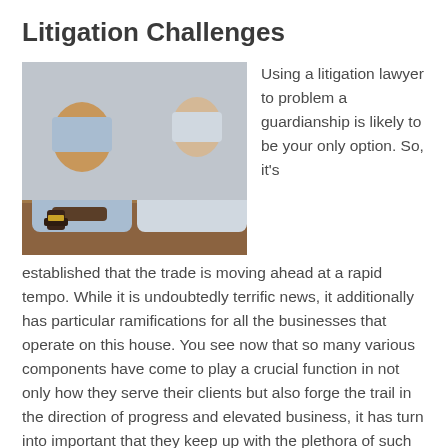Litigation Challenges
[Figure (photo): Two people shaking hands over a desk with a gavel, in a professional/legal setting]
Using a litigation lawyer to problem a guardianship is likely to be your only option. So, it's established that the trade is moving ahead at a rapid tempo. While it is undoubtedly terrific news, it additionally has particular ramifications for all the businesses that operate on this house. You see now that so many various components have come to play a crucial function in not only how they serve their clients but also forge the trail in the direction of progress and elevated business, it has turn into important that they keep up with the plethora of such